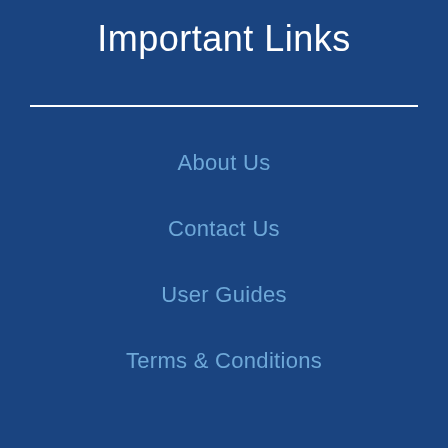Important Links
About Us
Contact Us
User Guides
Terms & Conditions